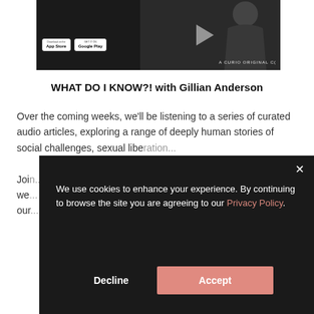[Figure (screenshot): App store download banner with dark background showing App Store and Google Play buttons, and a person's silhouette with 'A CURIO ORIGINAL' text]
WHAT DO I KNOW?! with Gillian Anderson
Over the coming weeks, we'll be listening to a series of curated audio articles, exploring a range of deeply human stories of social challenges, sexual libe[rtation...] Joi[n...] we[...] our[...]
We use cookies to enhance your experience. By continuing to browse the site you are agreeing to our Privacy Policy.
Decline
Accept